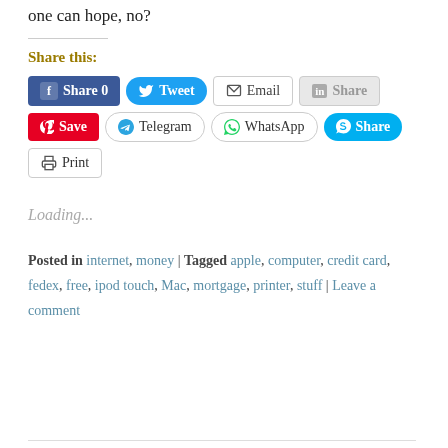one can hope, no?
Share this:
[Figure (other): Social share buttons: Facebook Share 0, Twitter Tweet, Email, LinkedIn Share, Pinterest Save, Telegram, WhatsApp, Skype Share, Print]
Loading...
Posted in internet, money | Tagged apple, computer, credit card, fedex, free, ipod touch, Mac, mortgage, printer, stuff | Leave a comment